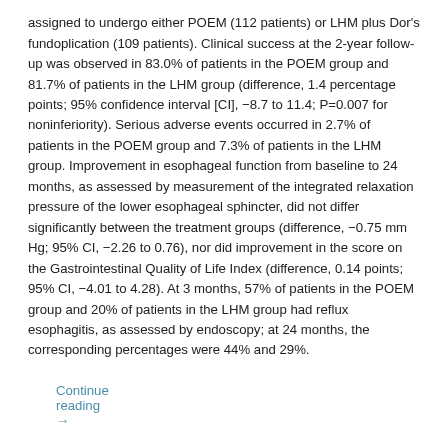assigned to undergo either POEM (112 patients) or LHM plus Dor's fundoplication (109 patients). Clinical success at the 2-year follow-up was observed in 83.0% of patients in the POEM group and 81.7% of patients in the LHM group (difference, 1.4 percentage points; 95% confidence interval [CI], −8.7 to 11.4; P=0.007 for noninferiority). Serious adverse events occurred in 2.7% of patients in the POEM group and 7.3% of patients in the LHM group. Improvement in esophageal function from baseline to 24 months, as assessed by measurement of the integrated relaxation pressure of the lower esophageal sphincter, did not differ significantly between the treatment groups (difference, −0.75 mm Hg; 95% CI, −2.26 to 0.76), nor did improvement in the score on the Gastrointestinal Quality of Life Index (difference, 0.14 points; 95% CI, −4.01 to 4.28). At 3 months, 57% of patients in the POEM group and 20% of patients in the LHM group had reflux esophagitis, as assessed by endoscopy; at 24 months, the corresponding percentages were 44% and 29%.
Continue reading →